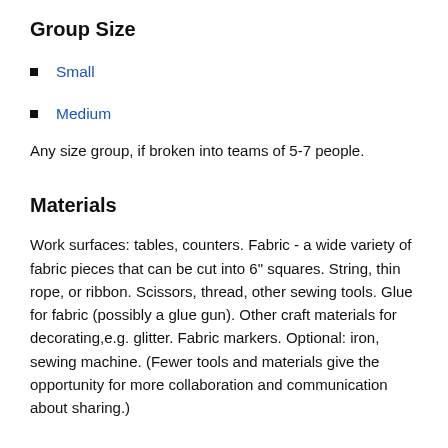Group Size
Small
Medium
Any size group, if broken into teams of 5-7 people.
Materials
Work surfaces: tables, counters. Fabric - a wide variety of fabric pieces that can be cut into 6" squares. String, thin rope, or ribbon. Scissors, thread, other sewing tools. Glue for fabric (possibly a glue gun). Other craft materials for decorating,e.g. glitter. Fabric markers. Optional: iron, sewing machine. (Fewer tools and materials give the opportunity for more collaboration and communication about sharing.)